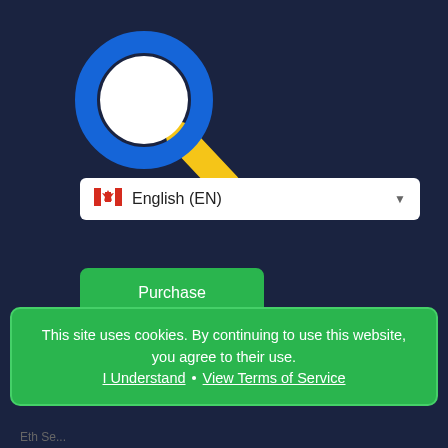[Figure (illustration): Magnifying glass icon with blue circular lens and yellow/gold handle, pointing lower-right on a dark navy background]
🇨🇦 English (EN)
Purchase
Login / Register
This site uses cookies. By continuing to use this website, you agree to their use. I Understand · View Terms of Service
Eth Seek...